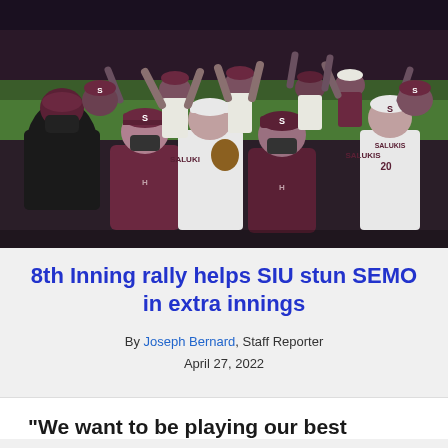[Figure (photo): SIU Salukis baseball team celebrating on the field, players wearing maroon uniforms and caps with 'S' logo, coaches in maroon pullovers, some wearing face masks, players raising hands and celebrating a win.]
8th Inning rally helps SIU stun SEMO in extra innings
By Joseph Bernard, Staff Reporter
April 27, 2022
"We want to be playing our best